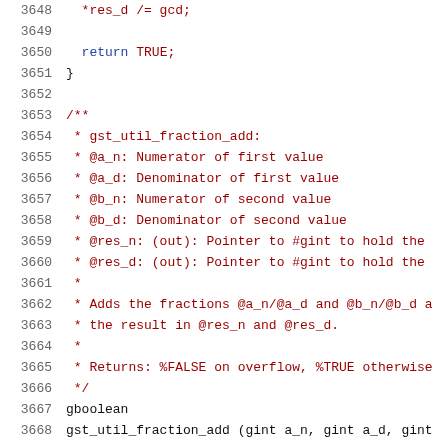Source code listing, lines 3648–3668, showing end of a function and start of gst_util_fraction_add documentation and declaration.